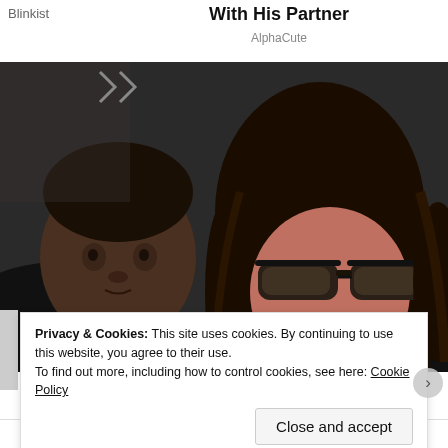Blinkist
With His Partner
AlphaCute
[Figure (photo): A woman wearing dark sunglasses with long dark hair holding a young child dressed in a black outfit, photographed outdoors in an urban setting.]
Privacy & Cookies: This site uses cookies. By continuing to use this website, you agree to their use.
To find out more, including how to control cookies, see here: Cookie Policy
Close and accept